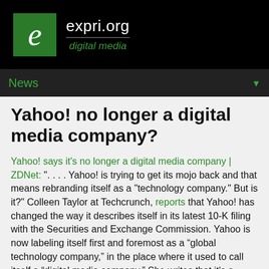expri.org digital media
News
Yahoo! no longer a digital media company?
Yahoo! says it's no longer a digital media company | ZDNet: ". . . . Yahoo! is trying to get its mojo back and that means rebranding itself as a "technology company." But is it?" Colleen Taylor at Techcrunch, reports that Yahoo! has changed the way it describes itself in its latest 10-K filing with the Securities and Exchange Commission. Yahoo is now labeling itself first and foremost as a “global technology company,” in the place where it used to call itself a “digital media company.” She writes that it's a small change but